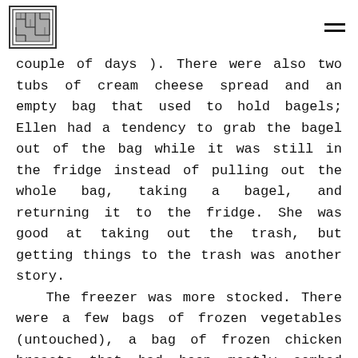[logo] [menu icon]
couple of days ). There were also two tubs of cream cheese spread and an empty bag that used to hold bagels; Ellen had a tendency to grab the bagel out of the bag while it was still in the fridge instead of pulling out the whole bag, taking a bagel, and returning it to the fridge. She was good at taking out the trash, but getting things to the trash was another story.

The freezer was more stocked. There were a few bags of frozen vegetables (untouched), a bag of frozen chicken breasts that had been mostly combed through save the last few that were oddly shaped and visually undesirable (but would probably cook up fine), and a half used container of ground beef that had been thrown into the freezer a week prior after Ellen had discovered the 'use of freeze by' date on the day of: